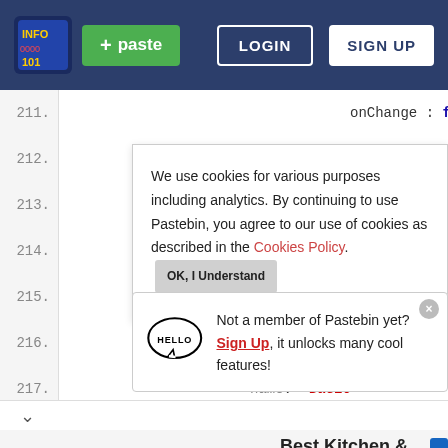[Figure (screenshot): Pastebin website navigation bar with logo, green paste button, LOGIN and SIGN UP buttons]
onChange : function() {
    component.refresh();
}
}
We use cookies for various purposes including analytics. By continuing to use Pastebin, you agree to our use of cookies as described in the Cookies Policy. OK, I Understand
name: "Basic"
Not a member of Pastebin yet? Sign Up, it unlocks many cool features!
Best Kitchen & Bath Co
You Dream, We Make It a Reality. N
Do Not Miss Special Deal.
KBR Kitchen & Bath